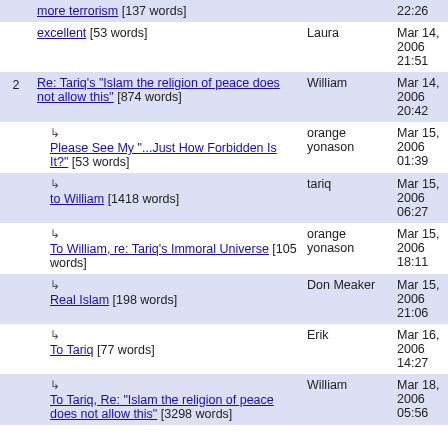| # | Title | Author | Date |
| --- | --- | --- | --- |
|  | more terrorism [137 words] |  | 22:26 |
|  | excellent [53 words] | Laura | Mar 14, 2006 21:51 |
| 2 | Re: Tariq's "Islam the religion of peace does not allow this" [874 words] | William | Mar 14, 2006 20:42 |
|  | ↳ Please See My "...Just How Forbidden Is It?" [53 words] | orange yonason | Mar 15, 2006 01:39 |
|  | ↳ to William [1418 words] | tariq | Mar 15, 2006 06:27 |
|  | ↳ To William, re: Tariq's Immoral Universe [105 words] | orange yonason | Mar 15, 2006 18:11 |
|  | ↳ Real Islam [198 words] | Don Meaker | Mar 15, 2006 21:06 |
|  | ↳ To Tariq [77 words] | Erik | Mar 16, 2006 14:27 |
|  | ↳ To Tariq, Re: "Islam the religion of peace does not allow this" [3298 words] | William | Mar 18, 2006 05:56 |